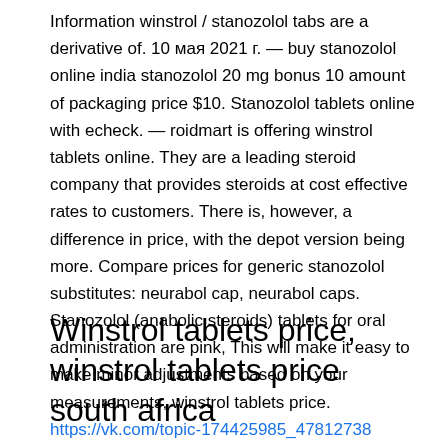Information winstrol / stanozolol tabs are a derivative of. 10 мая 2021 г. — buy stanozolol online india stanozolol 20 mg bonus 10 amount of packaging price $10. Stanozolol tablets online with echeck. — roidmart is offering winstrol tablets online. They are a leading steroid company that provides steroids at cost effective rates to customers. There is, however, a difference in price, with the depot version being more. Compare prices for generic stanozolol substitutes: neurabol cap, neurabol caps. Stanozolol (anabolic steroids) tablets for oral administration are pink, This will make it easy to make minor adjustments based on your measurements, winstrol tablets price. https://vk.com/topic-174425985_47812738
Winstrol tablets price, winstrol tablets price south africa